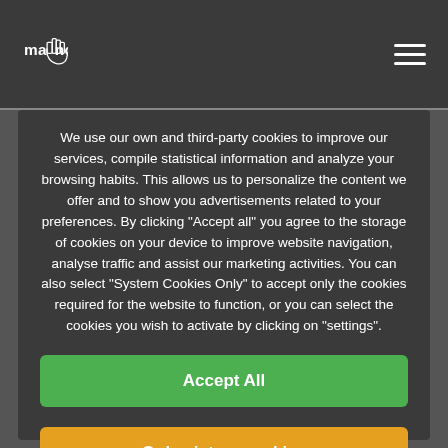mano (logo with hand icon)
We use our own and third-party cookies to improve our services, compile statistical information and analyze your browsing habits. This allows us to personalize the content we offer and to show you advertisements related to your preferences. By clicking "Accept all" you agree to the storage of cookies on your device to improve website navigation, analyse traffic and assist our marketing activities. You can also select "System Cookies Only" to accept only the cookies required for the website to function, or you can select the cookies you wish to activate by clicking on "settings".
Accept All
Only sistem cookies
Configuration